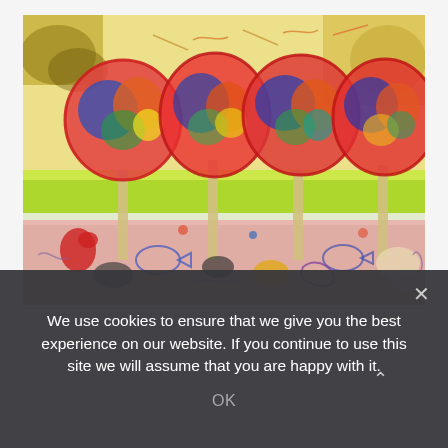[Figure (illustration): A colorful abstract expressionist painting featuring four large round trees with vivid red, blue, orange, and green colors against a yellow sky. The lower half shows a pink/peach ground area filled with abstract fish, fruits, and organic shapes. The painting is energetic with sketchy lines and vibrant hues throughout.]
We use cookies to ensure that we give you the best experience on our website. If you continue to use this site we will assume that you are happy with it.
OK